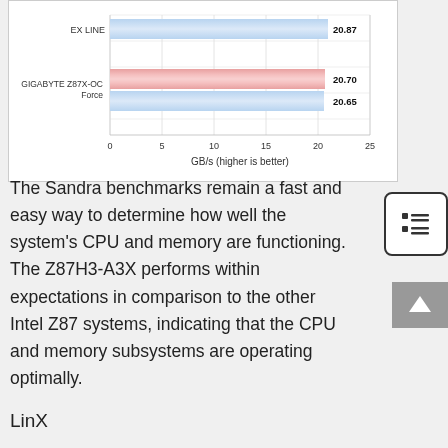[Figure (bar-chart): Memory Bandwidth]
The Sandra benchmarks remain a fast and easy way to determine how well the system's CPU and memory are functioning. The Z87H3-A3X performs within expectations in comparison to the other Intel Z87 systems, indicating that the CPU and memory subsystems are operating optimally.
LinX